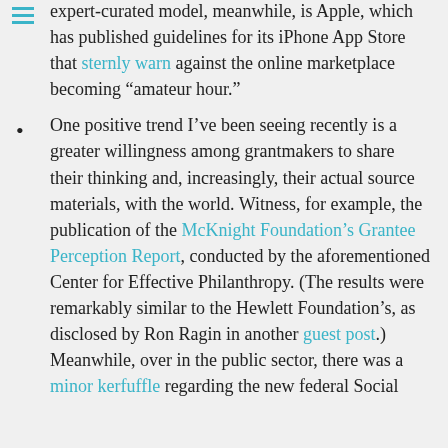expert-curated model, meanwhile, is Apple, which has published guidelines for its iPhone App Store that sternly warn against the online marketplace becoming “amateur hour.”
One positive trend I’ve been seeing recently is a greater willingness among grantmakers to share their thinking and, increasingly, their actual source materials, with the world. Witness, for example, the publication of the McKnight Foundation’s Grantee Perception Report, conducted by the aforementioned Center for Effective Philanthropy. (The results were remarkably similar to the Hewlett Foundation’s, as disclosed by Ron Ragin in another guest post.) Meanwhile, over in the public sector, there was a minor kerfuffle regarding the new federal Social